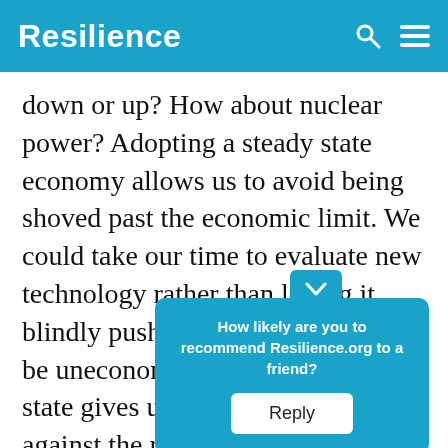Resilience
down or up? How about nuclear power? Adopting a steady state economy allows us to avoid being shoved past the economic limit. We could take our time to evaluate new technology rather than letting it blindly push growth that may well be uneconomic. And the steady state gives us some insurance against the risks of ecolog[ical collapse, with] growth[, providing insura]nce.
How likely are you to recommend Resilience.org to a friend?
Reply